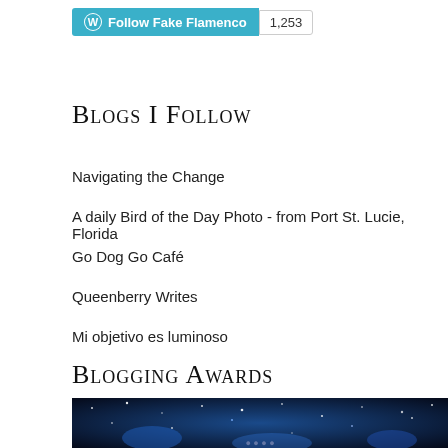[Figure (other): WordPress Follow Fake Flamenco button in teal/cyan with WordPress logo icon, followed by a count badge showing 1,253]
Blogs I Follow
Navigating the Change
A daily Bird of the Day Photo - from Port St. Lucie, Florida
Go Dog Go Café
Queenberry Writes
Mi objetivo es luminoso
Blogging Awards
[Figure (photo): Blue starry night sky banner image with text partially visible at bottom, for Blogging Awards section]